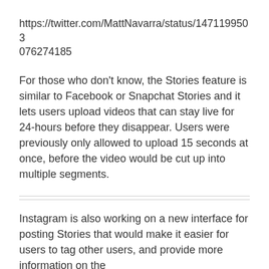https://twitter.com/MattNavarra/status/1471199503076274185
For those who don't know, the Stories feature is similar to Facebook or Snapchat Stories and it lets users upload videos that can stay live for 24-hours before they disappear. Users were previously only allowed to upload 15 seconds at once, before the video would be cut up into multiple segments.
Instagram is also working on a new interface for posting Stories that would make it easier for users to tag other users, and provide more information on the